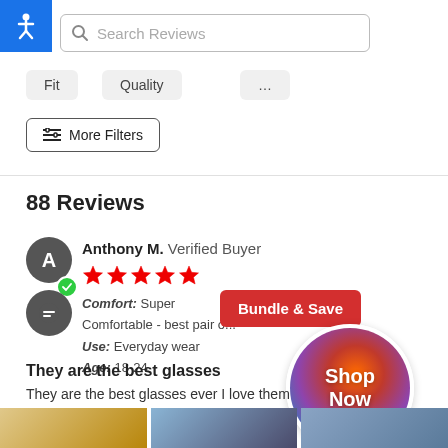[Figure (screenshot): Accessibility icon button, blue square with white person figure]
Search Reviews
Fit
Quality
...
≡≡ More Filters
88 Reviews
Anthony M.  Verified Buyer
[Figure (other): 5 red star rating]
Comfort:  Super Comfortable - best pair o...
Use:  Everyday wear
Age:  18-24
[Figure (other): Bundle & Save red banner with Shop Now circular button showing colorful glasses]
They are the best glasses
They are the best glasses ever I love them
[Figure (photo): Three thumbnail photos of glasses at bottom of page]